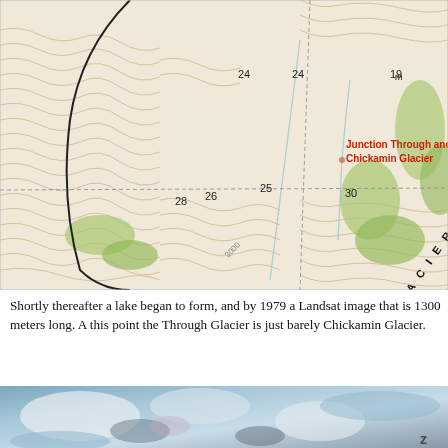[Figure (map): Topographic map showing Through Glacier and Chickamin Glacier junction area in Misty Fjords National area. Contour lines with elevation numbers 24, 24, 19, 25, 26, 28, 30. Green vegetation patches visible. Red annotation text reading 'Junction Through and Chickamin Glacier'. Labels: CHICKAM, MISTY, THROUGH GLACIER, NATIONAL.]
Shortly thereafter a lake began to form, and by 1979 a Landsat image that is 1300 meters long. A this point the Through Glacier is just barely Chickamin Glacier.
[Figure (photo): Satellite or aerial photograph showing glaciated mountainous terrain with snow, ice, and rocky peaks. Blue-teal tones with white snow patches visible.]